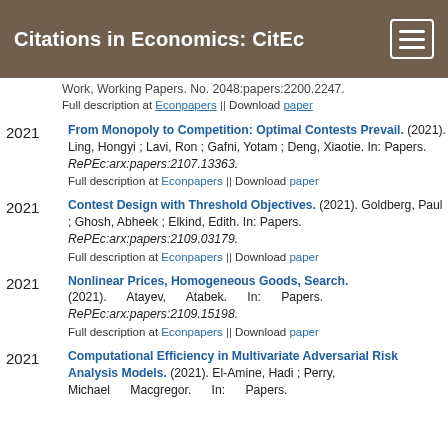Citations in Economics: CitEc
Work, Working Papers. No. 2048:papers:2200.2247.
Full description at Econpapers || Download paper
2021 From Monopoly to Competition: Optimal Contests Prevail. (2021). Ling, Hongyi ; Lavi, Ron ; Gafni, Yotam ; Deng, Xiaotie. In: Papers. RePEc:arx:papers:2107.13363.
Full description at Econpapers || Download paper
2021 Contest Design with Threshold Objectives. (2021). Goldberg, Paul ; Ghosh, Abheek ; Elkind, Edith. In: Papers. RePEc:arx:papers:2109.03179.
Full description at Econpapers || Download paper
2021 Nonlinear Prices, Homogeneous Goods, Search. (2021). Atayev, Atabek. In: Papers. RePEc:arx:papers:2109.15198.
Full description at Econpapers || Download paper
2021 Computational Efficiency in Multivariate Adversarial Risk Analysis Models. (2021). El-Amine, Hadi ; Perry, Michael ; Macgregor. In: Papers.